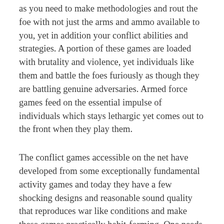as you need to make methodologies and rout the foe with not just the arms and ammo available to you, yet in addition your conflict abilities and strategies. A portion of these games are loaded with brutality and violence, yet individuals like them and battle the foes furiously as though they are battling genuine adversaries. Armed force games feed on the essential impulse of individuals which stays lethargic yet comes out to the front when they play them.
The conflict games accessible on the net have developed from some exceptionally fundamental activity games and today they have a few shocking designs and reasonable sound quality that reproduces war like conditions and make these games practically habit-forming. One needs to see the gamers playing these military games to accept the degree of force with which they play these games for a really long time at stretch. These games are far better than the combative